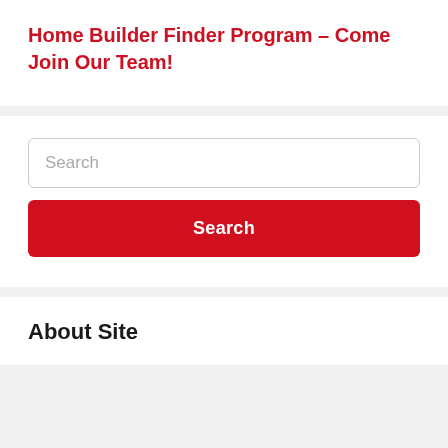Home Builder Finder Program – Come Join Our Team!
Search
About Site